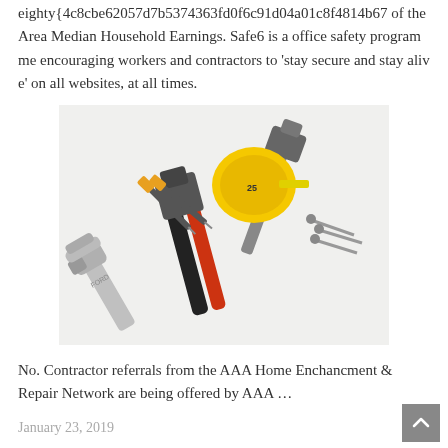eighty{4c8cbe62057d7b5374363fd0f6c91d04a01c8f4814b67 of the Area Median Household Earnings. Safe6 is a office safety programme encouraging workers and contractors to ‘stay secure and stay alive’ on all websites, at all times.
[Figure (photo): A collection of tools including a yellow tape measure, a hammer, pliers, a wrench, screwdrivers, and nails arranged together on a white background.]
No. Contractor referrals from the AAA Home Enchancment & Repair Network are being offered by AAA …
January 23, 2019